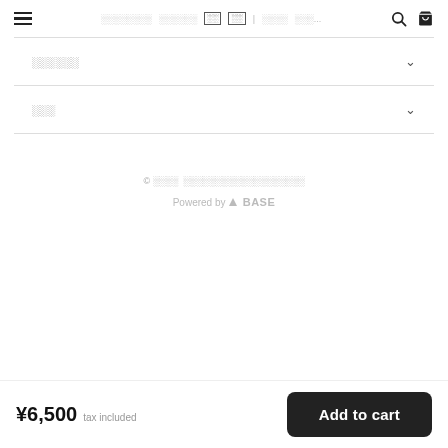≡ ░░░░░░░░ ░░░░░░ ░░ ░░|░░░░ ░░░... 🔍 🛒
░░░░░ ▾
░░░ ▾
© ░░░░  ░░░░░░░░░░░░░░░░░░░
Powered by ▲BASE
¥6,500 tax included   Add to cart